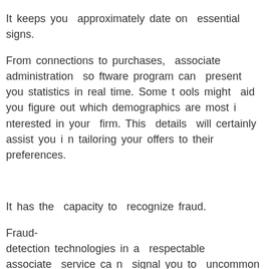It keeps you approximately date on essential signs.
From connections to purchases, associate administration software program can present you statistics in real time. Some tools might aid you figure out which demographics are most interested in your firm. This details will certainly assist you in tailoring your offers to their preferences.
It has the capacity to recognize fraud.
Fraud-
detection technologies in a respectable associate service can signal you to uncommon activity on your associate's inter